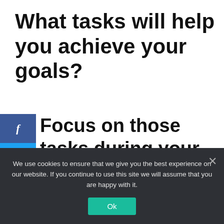What tasks will help you achieve your goals?
Focus on those tasks during your most productive time of day.
[Figure (infographic): Social share sidebar with Facebook (blue), Twitter (light blue), and Pinterest (red) buttons]
5
SHARES
5.   Set Goals And Milestones
We use cookies to ensure that we give you the best experience on our website. If you continue to use this site we will assume that you are happy with it.
Ok